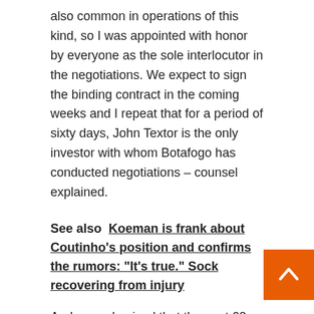also common in operations of this kind, so I was appointed with honor by everyone as the sole interlocutor in the negotiations. We expect to sign the binding contract in the coming weeks and I repeat that for a period of sixty days, John Textor is the only investor with whom Botafogo has conducted negotiations – counsel explained.
See also  Koeman is frank about Coutinho's position and confirms the rumors: "It's true." Sock recovering from injury
Andre emphasized that the next 60 days will be full of talks, negotiations and little news – even because there is a confidentiality agreement between the two parties.